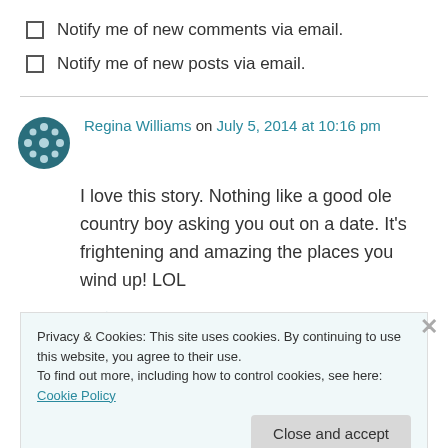Notify me of new comments via email.
Notify me of new posts via email.
Regina Williams on July 5, 2014 at 10:16 pm
I love this story. Nothing like a good ole country boy asking you out on a date. It's frightening and amazing the places you wind up! LOL
Like
Privacy & Cookies: This site uses cookies. By continuing to use this website, you agree to their use.
To find out more, including how to control cookies, see here: Cookie Policy
Close and accept